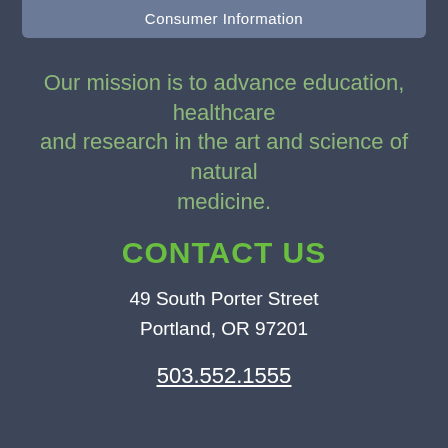Consumer Information
Our mission is to advance education, healthcare and research in the art and science of natural medicine.
CONTACT US
49 South Porter Street
Portland, OR 97201
503.552.1555